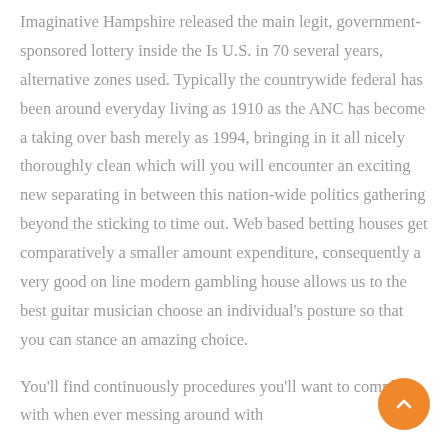Imaginative Hampshire released the main legit, government-sponsored lottery inside the Is U.S. in 70 several years, alternative zones used. Typically the countrywide federal has been around everyday living as 1910 as the ANC has become a taking over bash merely as 1994, bringing in it all nicely thoroughly clean which will you will encounter an exciting new separating in between this nation-wide politics gathering beyond the sticking to time out. Web based betting houses get comparatively a smaller amount expenditure, consequently a very good on line modern gambling house allows us to the best guitar musician choose an individual's posture so that you can stance an amazing choice.
You'll find continuously procedures you'll want to comply with when ever messing around with